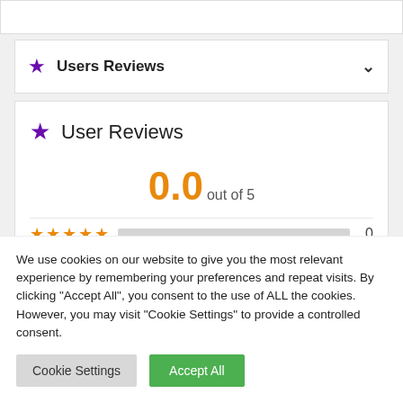★ Users Reviews ∨
★ User Reviews
0.0 out of 5
★★★★★  0
★★★★☆  0
We use cookies on our website to give you the most relevant experience by remembering your preferences and repeat visits. By clicking "Accept All", you consent to the use of ALL the cookies. However, you may visit "Cookie Settings" to provide a controlled consent.
Cookie Settings
Accept All